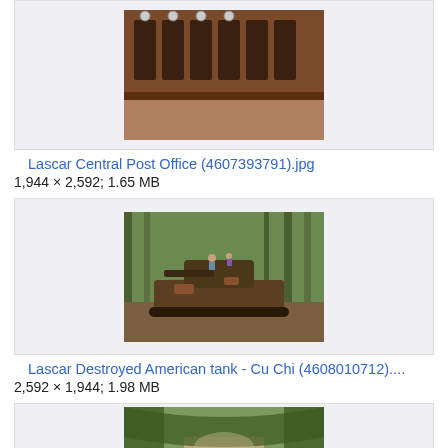[Figure (photo): Photo of a historic post office building with ornate wooden facade and clocks, partially visible at top of page]
Lascar Central Post Office (4607393791).jpg
1,944 × 2,592; 1.65 MB
[Figure (photo): Photo of a destroyed/rusted American tank in a forested area at Cu Chi, with people visible on top]
Lascar Destroyed American tank - Cu Chi (4608010712)....
2,592 × 1,944; 1.98 MB
[Figure (photo): Photo of a forested path or jungle walkway, partially visible at bottom of page]